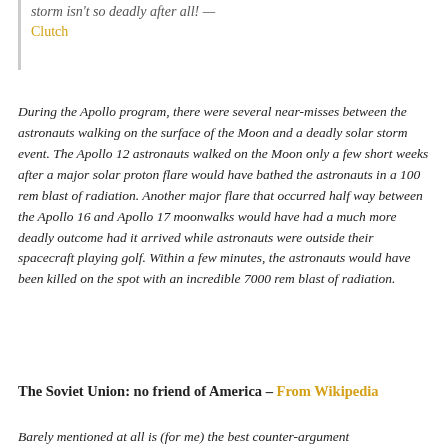storm isn't so deadly after all! — Clutch
During the Apollo program, there were several near-misses between the astronauts walking on the surface of the Moon and a deadly solar storm event. The Apollo 12 astronauts walked on the Moon only a few short weeks after a major solar proton flare would have bathed the astronauts in a 100 rem blast of radiation. Another major flare that occurred half way between the Apollo 16 and Apollo 17 moonwalks would have had a much more deadly outcome had it arrived while astronauts were outside their spacecraft playing golf. Within a few minutes, the astronauts would have been killed on the spot with an incredible 7000 rem blast of radiation.
The Soviet Union: no friend of America – From Wikipedia
Barely mentioned at all is (for me) the best counter-argument